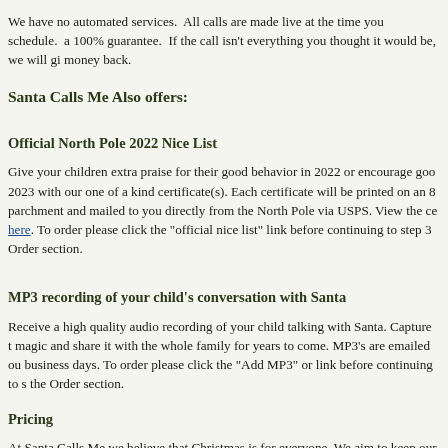We have no automated services. All calls are made live at the time you schedule. a 100% guarantee. If the call isn't everything you thought it would be, we will gi money back.
Santa Calls Me Also offers:
Official North Pole 2022 Nice List
Give your children extra praise for their good behavior in 2022 or encourage goo 2023 with our one of a kind certificate(s). Each certificate will be printed on an 8 parchment and mailed to you directly from the North Pole via USPS. View the ce here. To order please click the "official nice list" link before continuing to step 3 Order section.
MP3 recording of your child's conversation with Santa
Receive a high quality audio recording of your child talking with Santa. Capture t magic and share it with the whole family for years to come. MP3's are emailed ou business days. To order please click the "Add MP3" or link before continuing to s the Order section.
Pricing
At Santa Calls Me we believe that Christmas is for everyone. We aim to keep our competitive but affordable. If for some reason the cost of a Santa Call is unattaina this year please contact us at santa@santacallsme.com and we will work with you